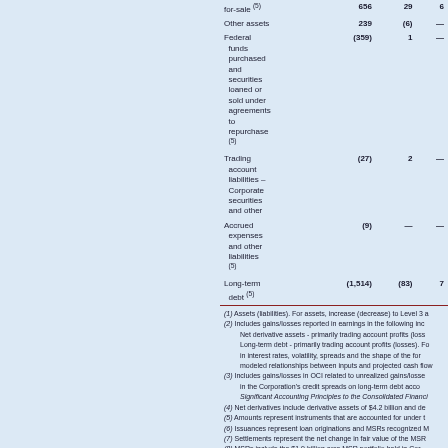|  |  |  |  |
| --- | --- | --- | --- |
| for-sale (5) | 656 | 29 | 6 |
| Other assets | 239 | (6) | — |
| Federal funds purchased and securities loaned or sold under agreements to repurchase (5) | (359) | 1 | — |
| Trading account liabilities – Corporate securities and other | (27) | 2 | — |
| Accrued expenses and other liabilities (5) | (9) | — | — |
| Long-term debt (5) | (1,514) | (83) | 7 |
(1) Assets (liabilities). For assets, increase (decrease) to Level 3 a (2) Includes gains/losses reported in earnings in the following inc Net derivative assets - primarily trading account profits (loss Long-term debt - primarily trading account profits (losses). Fo in interest rates, volatility, spreads and the shape of the for modeled relationships between inputs and projected cash flow (3) Includes gains/losses in OCI related to unrealized gains/losse in the Corporation's credit spreads on long-term debt acco Significant Accounting Principles to the Consolidated Financi (4) Net derivatives include derivative assets of $4.2 billion and de (5) Amounts represent instruments that are accounted for under t (6) Issuances represent loan originations and MSRs recognized M (7) Settlements represent the net change in fair value of the MSR (8) MSRs include the $1.9 billion core MSR portfolio held in Cor non-U.S. MSR portfolio held in Global Markets.